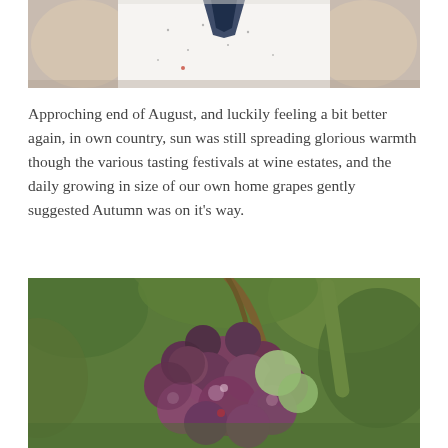[Figure (photo): Top portion of a person wearing a white t-shirt with small bird prints and a dark blue neckerchief/scarf, cropped at torso level]
Approching end of August, and luckily feeling a bit better again, in own country, sun was still spreading glorious warmth though the various tasting festivals at wine estates, and the daily growing in size of our own home grapes gently suggested Autumn was on it's way.
[Figure (photo): Close-up photograph of a cluster of grapes on the vine, showing purple/red and green grapes with green leaves and vine stems in the background]